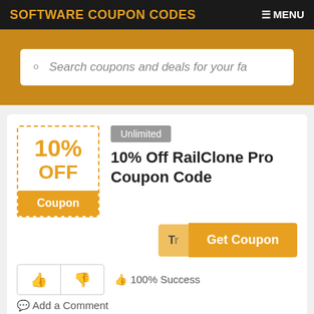SOFTWARE COUPON CODES   ≡ MENU
Search coupons and deals for your fa
[Figure (infographic): 10% OFF Coupon badge with dashed orange border and orange 'Coupon' label at bottom]
Unlimited
10% Off RailClone Pro Coupon Code
Get Coupon
👍 100% Success
Add a Comment
Make sure to use this RailClone Pro coupon code at checkout to retrieve 10% Off for Itoo Software RailClone